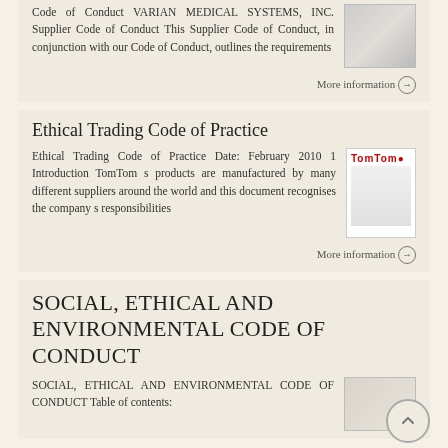Code of Conduct VARIAN MEDICAL SYSTEMS, INC. Supplier Code of Conduct This Supplier Code of Conduct, in conjunction with our Code of Conduct, outlines the requirements
More information →
Ethical Trading Code of Practice
Ethical Trading Code of Practice Date: February 2010 1 Introduction TomTom s products are manufactured by many different suppliers around the world and this document recognises the company s responsibilities
More information →
SOCIAL, ETHICAL AND ENVIRONMENTAL CODE OF CONDUCT
SOCIAL, ETHICAL AND ENVIRONMENTAL CODE OF CONDUCT Table of contents: